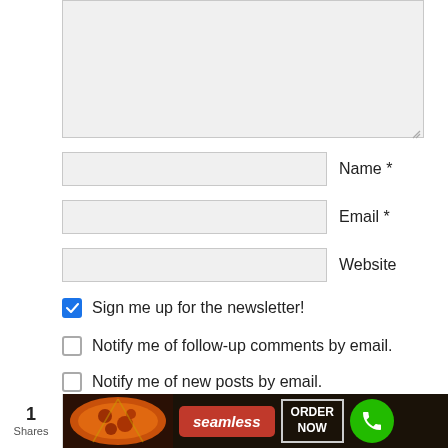[Figure (screenshot): Large text area input field with resize handle, grey background]
Name *
Email *
Website
Sign me up for the newsletter!
Notify me of follow-up comments by email.
Notify me of new posts by email.
POST COMMENT
CLOSE
1
Shares
[Figure (screenshot): Ad banner: pizza image, Seamless logo, ORDER NOW button, green phone button]